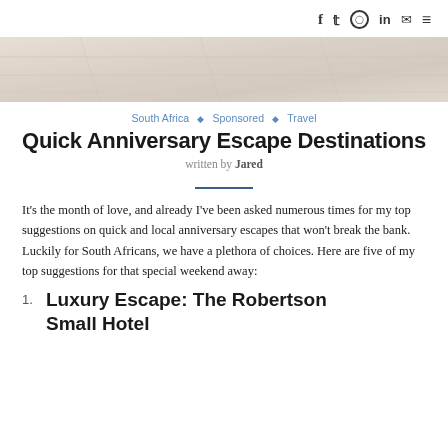f  𝕏  ⊙  in  ✉  ≡
[Figure (photo): Hero image showing light-colored wooden or tiled surface in warm neutral tones]
South Africa ◇ Sponsored ◇ Travel
Quick Anniversary Escape Destinations
written by Jared
It's the month of love, and already I've been asked numerous times for my top suggestions on quick and local anniversary escapes that won't break the bank. Luckily for South Africans, we have a plethora of choices. Here are five of my top suggestions for that special weekend away:
1. Luxury Escape: The Robertson Small Hotel